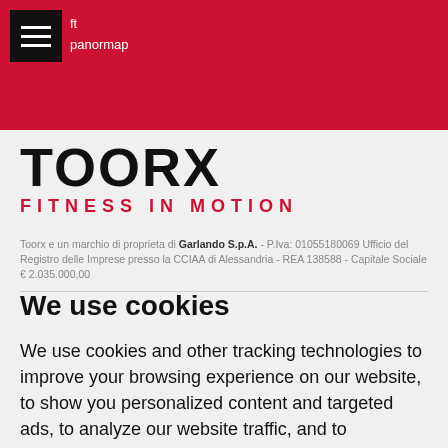ft
panomap
[Figure (logo): TOORX FITNESS IN MOTION logo — large bold black TOORX text with red FITNESS IN MOTION subtitle]
Toorx e un marchio di proprieta di Garlando S.p.A. - P.Iva: 01055180069 Ufficio del Registro delle Imprese presso la CCIAA di Alessandria - REA 138588 - Capitale Sociale € 2.035.000,00
We use cookies
We use cookies and other tracking technologies to improve your browsing experience on our website, to show you personalized content and targeted ads, to analyze our website traffic, and to